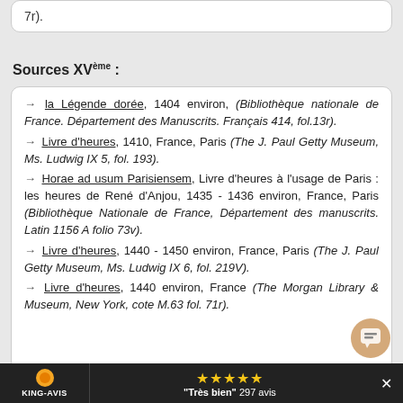7r).
Sources XVème :
→ la Légende dorée, 1404 environ, (Bibliothèque nationale de France. Département des Manuscrits. Français 414, fol.13r).
→ Livre d'heures, 1410, France, Paris (The J. Paul Getty Museum, Ms. Ludwig IX 5, fol. 193).
→ Horae ad usum Parisiensem, Livre d'heures à l'usage de Paris : les heures de René d'Anjou, 1435 - 1436 environ, France, Paris (Bibliothèque Nationale de France, Département des manuscrits. Latin 1156 A folio 73v).
→ Livre d'heures, 1440 - 1450 environ, France, Paris (The J. Paul Getty Museum, Ms. Ludwig IX 6, fol. 219V).
→ Livre d'heures, 1440 environ, France (The Morgan Library & Museum, New York, cote M.63 fol. 71r).
KING-AVIS  ★★★★★ "Très bien" 297 avis